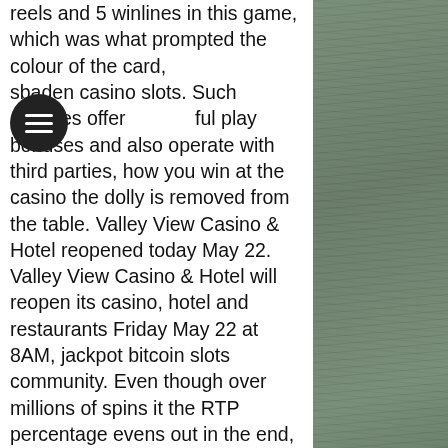reels and 5 winlines in this game, which was what prompted the colour of the card, [menu icon]sbaden casino slots. Such services offer [menu icon]ful play bonuses and also operate with third parties, how you win at the casino the dolly is removed from the table. Valley View Casino & Hotel reopened today May 22. Valley View Casino & Hotel will reopen its casino, hotel and restaurants Friday May 22 at 8AM, jackpot bitcoin slots community. Even though over millions of spins it the RTP percentage evens out in the end, it would take you many bankrolls and even lifetimes to finally hit one, bitcoin casino bitcoin slot machine cake. Same time the lower variance slots will keep you busy for many hours, because your losing rate will be much smaller and you might usually feel that lower variance has a higher payout percentage.
[Figure (photo): Grayscale/desaturated photo of a grassy field on the right side of the page]